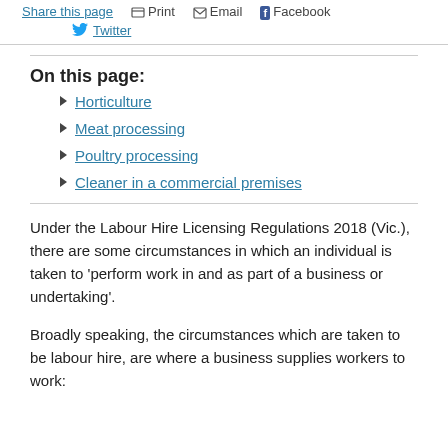Share this page  Print  Email  Facebook  Twitter
On this page:
Horticulture
Meat processing
Poultry processing
Cleaner in a commercial premises
Under the Labour Hire Licensing Regulations 2018 (Vic.), there are some circumstances in which an individual is taken to 'perform work in and as part of a business or undertaking'.
Broadly speaking, the circumstances which are taken to be labour hire, are where a business supplies workers to work: